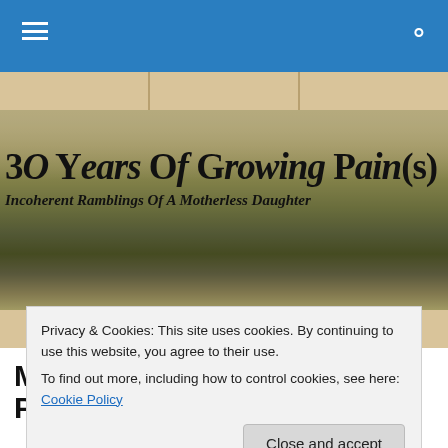Navigation bar with hamburger menu and search icon
[Figure (illustration): Blog header banner: sepia-toned field/grassland landscape with mountains in background. Overlaid text reads '30 Years Of Growing Pain(s)' and subtitle 'Incoherent Ramblings Of A Motherless Daughter']
My Boring, But Absolutely Pleasing, Not Danceable
Privacy & Cookies: This site uses cookies. By continuing to use this website, you agree to their use.
To find out more, including how to control cookies, see here: Cookie Policy
Close and accept